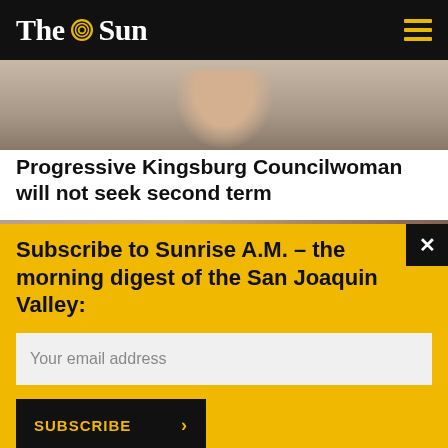The Sun
[Figure (photo): Partial photo of a person with arms crossed, cropped at top]
Progressive Kingsburg Councilwoman will not seek second term
[Figure (photo): Partial photo strip, cropped]
Subscribe to Sunrise A.M. – the morning digest of the San Joaquin Valley:
Your email address
SUBSCRIBE >